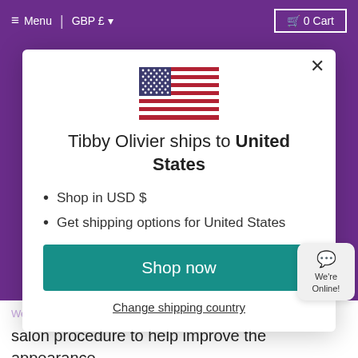≡ Menu | GBP £ ▾   🛒 0 Cart
[Figure (illustration): US flag emoji/icon centered in modal]
Tibby Olivier ships to United States
Shop in USD $
Get shipping options for United States
Shop now
Change shipping country
We're Online!
We're happy to help boost along healing after a salon procedure to help improve the appearance